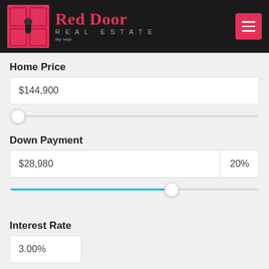[Figure (logo): Red Door Real Estate logo — pink door graphic on black background, with 'Red Door REAL ESTATE' text in pink and grey]
Home Price
$144,900
Down Payment
$28,980   20%
Interest Rate
3.00%